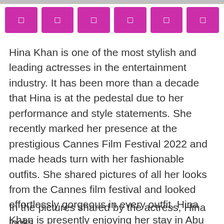[Figure (other): Row of six magenta/pink icon buttons with small square icons]
Hina Khan is one of the most stylish and leading actresses in the entertainment industry. It has been more than a decade that Hina is at the pedestal due to her performance and style statements. She recently marked her presence at the prestigious Cannes Film Festival 2022 and made heads turn with her fashionable outfits. She shared pictures of all her looks from the Cannes film festival and looked effortlessly gorgeous in every outfit. Hina Khan is presently enjoying her stay in Abu Dhabi and her pictures are offering fashion goals for all.
In the pictures shared by the actress, Hina looks